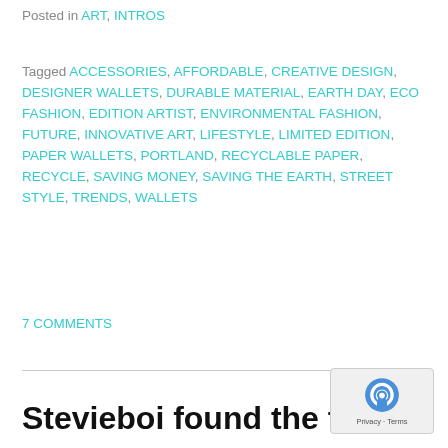Posted in ART, INTROS
Tagged ACCESSORIES, AFFORDABLE, CREATIVE DESIGN, DESIGNER WALLETS, DURABLE MATERIAL, EARTH DAY, ECO FASHION, EDITION ARTIST, ENVIRONMENTAL FASHION, FUTURE, INNOVATIVE ART, LIFESTYLE, LIMITED EDITION, PAPER WALLETS, PORTLAND, RECYCLABLE PAPER, RECYCLE, SAVING MONEY, SAVING THE EARTH, STREET STYLE, TRENDS, WALLETS
7 COMMENTS
Stevieboi found the future